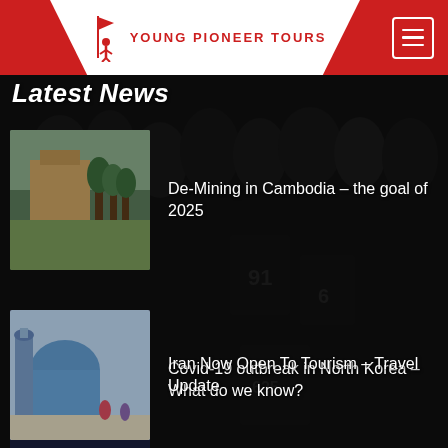[Figure (screenshot): Young Pioneer Tours website header with logo and hamburger menu on red background]
Latest News
[Figure (photo): Thumbnail image of a garden/park scene with trees and a building - Cambodia de-mining article]
De-Mining in Cambodia – the goal of 2025
[Figure (photo): Thumbnail image of a person wearing a mask, official setting - North Korea Covid article]
Covid-19 outbreak in North Korea – What do we know?
[Figure (photo): Thumbnail image of a mosque with minaret - Iran travel article]
Iran Now Open To Tourism – Travel Update